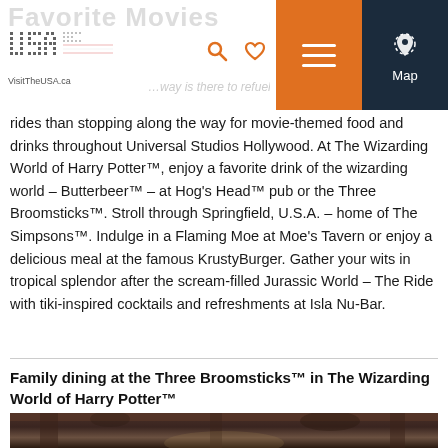Favorite Movies — VisitTheUSA.ca — what way is there to refuel and refresh
rides than stopping along the way for movie-themed food and drinks throughout Universal Studios Hollywood. At The Wizarding World of Harry Potter™, enjoy a favorite drink of the wizarding world – Butterbeer™ – at Hog's Head™ pub or the Three Broomsticks™. Stroll through Springfield, U.S.A. – home of The Simpsons™. Indulge in a Flaming Moe at Moe's Tavern or enjoy a delicious meal at the famous KrustyBurger. Gather your wits in tropical splendor after the scream-filled Jurassic World – The Ride with tiki-inspired cocktails and refreshments at Isla Nu-Bar.
Family dining at the Three Broomsticks™ in The Wizarding World of Harry Potter™
[Figure (photo): Interior of the Three Broomsticks restaurant at Universal Studios, showing rustic wooden beams, antler decorations, and dark atmospheric lighting.]